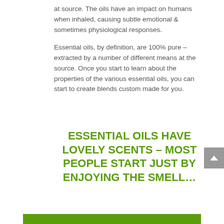at source. The oils have an impact on humans when inhaled, causing subtle emotional & sometimes physiological responses.
Essential oils, by definition, are 100% pure – extracted by a number of different means at the source. Once you start to learn about the properties of the various essential oils, you can start to create blends custom made for you.
ESSENTIAL OILS HAVE LOVELY SCENTS – MOST PEOPLE START JUST BY ENJOYING THE SMELL…